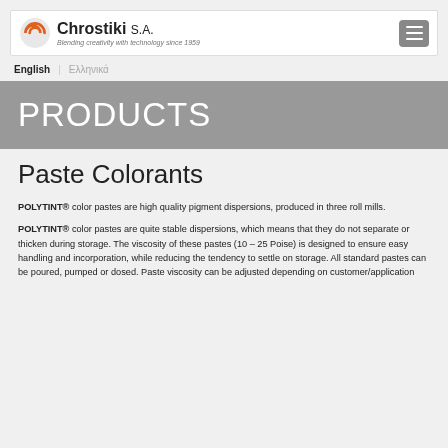Chrostiki S.A. — Blending creativity with technology since 1959
English | Ελληνικά
PRODUCTS
Paste Colorants
POLYTINT® color pastes are high quality pigment dispersions, produced in three roll mills.
POLYTINT® color pastes are quite stable dispersions, which means that they do not separate or thicken during storage. The viscosity of these pastes (10 – 25 Poise) is designed to ensure easy handling and incorporation, while reducing the tendency to settle on storage. All standard pastes can be poured, pumped or dosed. Paste viscosity can be adjusted depending on customer/application